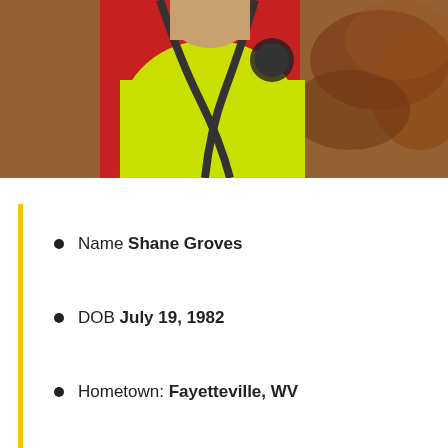[Figure (photo): Person wearing a neon yellow shirt and red harness/backpack, photographed from below at an angle, with autumn trees and brown foliage in the background.]
Name Shane Groves
DOB July 19, 1982
Hometown: Fayetteville, WV
Height: 5' 10"